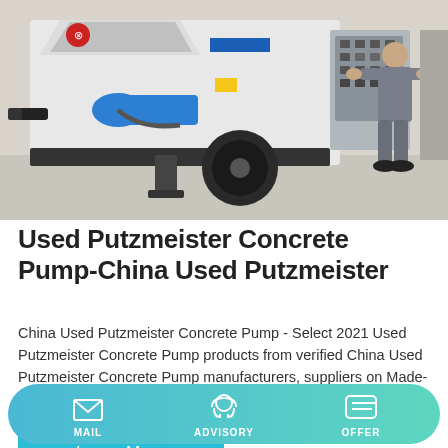[Figure (photo): Photograph of a used Putzmeister concrete pump on a trailer with blue hydraulic outlet and a worker in grey overalls standing near a control panel on a construction site.]
Used Putzmeister Concrete Pump-China Used Putzmeister
China Used Putzmeister Concrete Pump - Select 2021 Used Putzmeister Concrete Pump products from verified China Used Putzmeister Concrete Pump manufacturers, suppliers on Made-in-China.com.
Learn More
MAIL   ADVISORY   OFFER